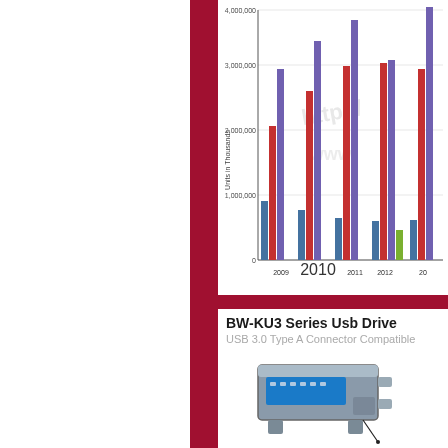[Figure (grouped-bar-chart): USB Units in Thousands by Year]
BW-KU3 Series Usb Drive
USB 3.0 Type A Connector Compatible
[Figure (illustration): 3D illustration of USB 3.0 Type A connector plug showing metallic housing with blue interior tongue and connection pins]